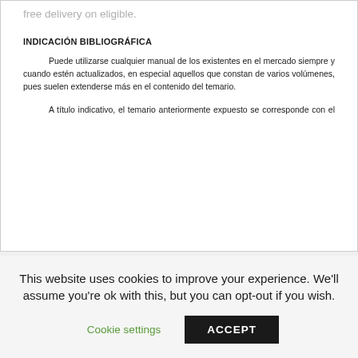free delivery on eligible.
INDICACIÓN BIBLIOGRÁFICA
Puede utilizarse cualquier manual de los existentes en el mercado siempre y cuando estén actualizados, en especial aquellos que constan de varios volúmenes, pues suelen extenderse más en el contenido del temario.
A título indicativo, el temario anteriormente expuesto se corresponde con el contenido
This website uses cookies to improve your experience. We'll assume you're ok with this, but you can opt-out if you wish.
Cookie settings
ACCEPT